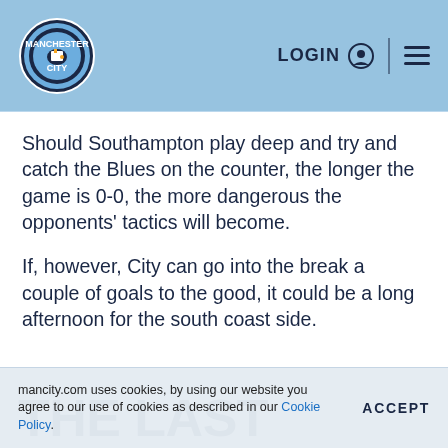Manchester City – LOGIN
Should Southampton play deep and try and catch the Blues on the counter, the longer the game is 0-0, the more dangerous the opponents' tactics will become.
If, however, City can go into the break a couple of goals to the good, it could be a long afternoon for the south coast side.
THE LAST MEETING
mancity.com uses cookies, by using our website you agree to our use of cookies as described in our Cookie Policy.